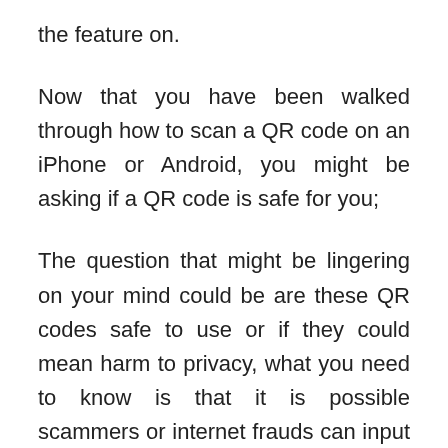the feature on.
Now that you have been walked through how to scan a QR code on an iPhone or Android, you might be asking if a QR code is safe for you;
The question that might be lingering on your mind could be are these QR codes safe to use or if they could mean harm to privacy, what you need to know is that it is possible scammers or internet frauds can input malicious